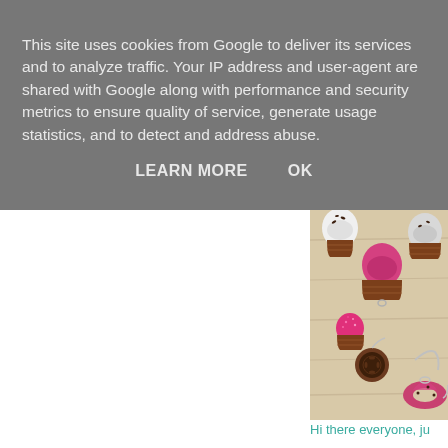This site uses cookies from Google to deliver its services and to analyze traffic. Your IP address and user-agent are shared with Google along with performance and security metrics to ensure quality of service, generate usage statistics, and to detect and address abuse.
LEARN MORE   OK
[Figure (photo): Photo of miniature polymer clay cupcake charms and earrings on a wooden surface. The cupcakes have white, pink/magenta frosting with chocolate sprinkles, and a pink glitter cupcake. There are also cookie charms and donut earrings visible.]
Hi there everyone, ju